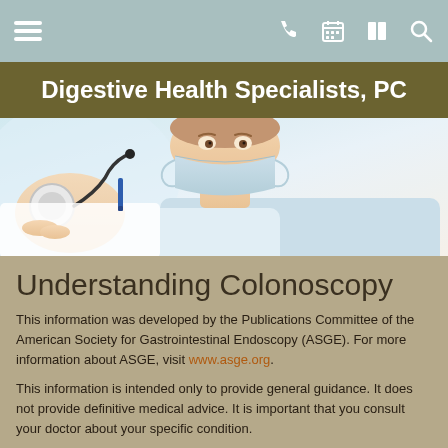Digestive Health Specialists, PC — navigation bar
Digestive Health Specialists, PC
[Figure (photo): Close-up photo of a female doctor or nurse wearing a surgical mask and holding a stethoscope, light blue/white background]
Understanding Colonoscopy
This information was developed by the Publications Committee of the American Society for Gastrointestinal Endoscopy (ASGE). For more information about ASGE, visit www.asge.org.
This information is intended only to provide general guidance. It does not provide definitive medical advice. It is important that you consult your doctor about your specific condition.